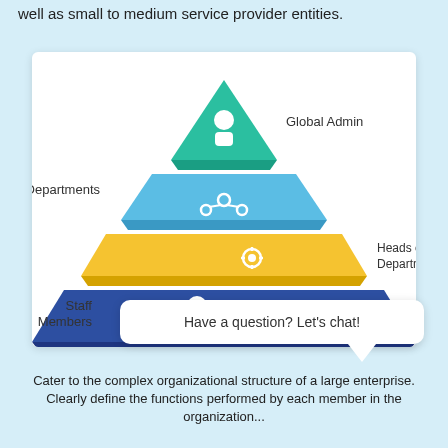well as small to medium service provider entities.
[Figure (infographic): Pyramid organizational hierarchy diagram with 4 levels: Global Admin (top, teal triangle), Departments (second level, light blue trapezoid with network icon), Heads of Department (third level, yellow trapezoid with gear icon), Staff Members (base, dark blue large trapezoid with user icon). Labels appear beside each level.]
Have a question? Let's chat!
Cater to the complex organizational structure of a large enterprise. Clearly define the functions performed by each member in the organization...